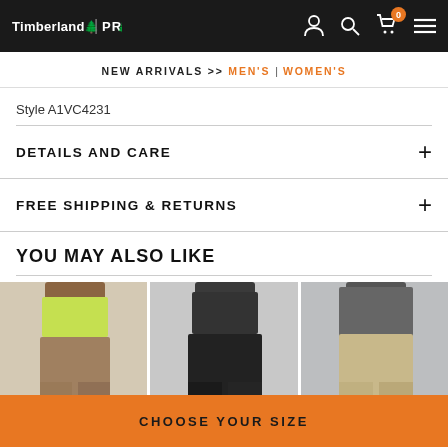Timberland PRO | (navigation icons)
NEW ARRIVALS >> MEN'S | WOMEN'S
Style A1VC4231
DETAILS AND CARE
FREE SHIPPING & RETURNS
YOU MAY ALSO LIKE
[Figure (photo): Three product thumbnail photos showing pants/trousers in tan, black, and khaki colors on models]
CHOOSE YOUR SIZE